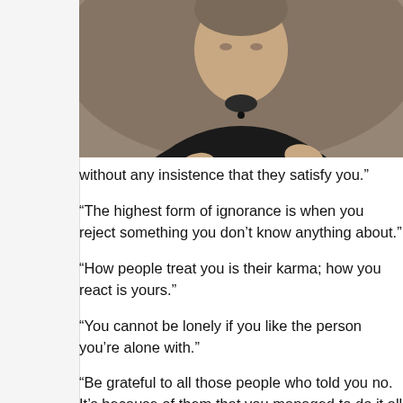[Figure (photo): A man in a black shirt with arms crossed, photographed from the chest up against a blurred background.]
without any insistence that they satisfy you.”
“The highest form of ignorance is when you reject something you don’t know anything about.”
“How people treat you is their karma; how you react is yours.”
“You cannot be lonely if you like the person you’re alone with.”
“Be grateful to all those people who told you no. It’s because of them that you managed to do it all yourself.”
“Self-worth cannot be verified by others. You are worthy because you say it is so. If you depend on others for your value it is other-worth.